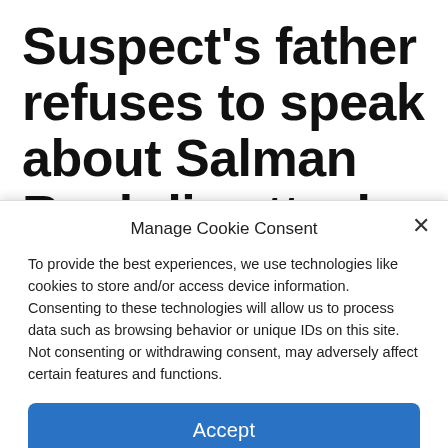Suspect's father refuses to speak about Salman Rushdie attack
Manage Cookie Consent
To provide the best experiences, we use technologies like cookies to store and/or access device information. Consenting to these technologies will allow us to process data such as browsing behavior or unique IDs on this site. Not consenting or withdrawing consent, may adversely affect certain features and functions.
Accept
Cookie Policy